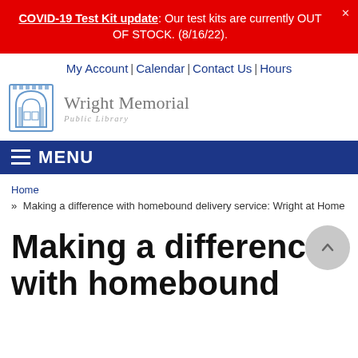COVID-19 Test Kit update: Our test kits are currently OUT OF STOCK. (8/16/22).
My Account | Calendar | Contact Us | Hours
[Figure (logo): Wright Memorial Public Library logo with stylized building/archway icon]
MENU
Home
» Making a difference with homebound delivery service: Wright at Home
Making a difference with homebound